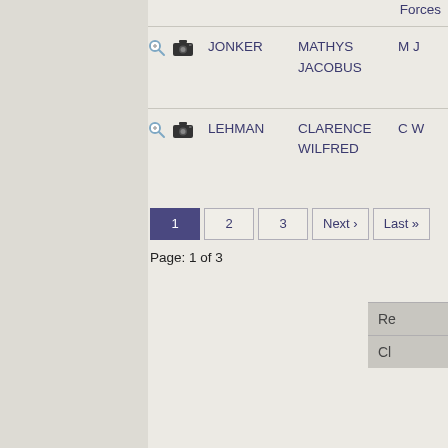|  |  | Surname | First Name(s) | Initials | Unit | Sqdn. |  |
| --- | --- | --- | --- | --- | --- | --- | --- |
| [icon] | [icon] | JONKER | MATHYS JACOBUS | M J | South African Air Force | 12 Sqdn. |  |
| [icon] | [icon] | LEHMAN | CLARENCE WILFRED | C W | South African Air Force | 12 Sqdn. |  |
Page: 1 of 3